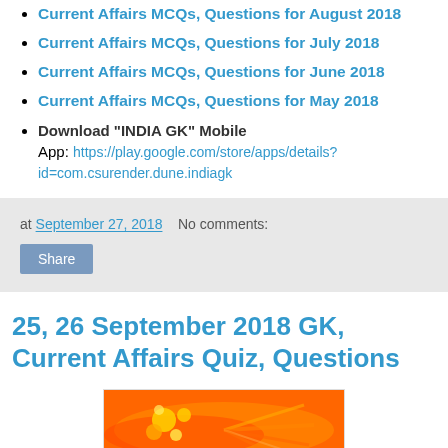Current Affairs MCQs, Questions for August 2018
Current Affairs MCQs, Questions for July 2018
Current Affairs MCQs, Questions for June 2018
Current Affairs MCQs, Questions for May 2018
Download "INDIA GK" Mobile App: https://play.google.com/store/apps/details?id=com.csurender.dune.indiagk
at September 27, 2018   No comments:
Share
25, 26 September 2018 GK, Current Affairs Quiz, Questions
[Figure (photo): Decorative orange and gold splash image related to India GK quiz]